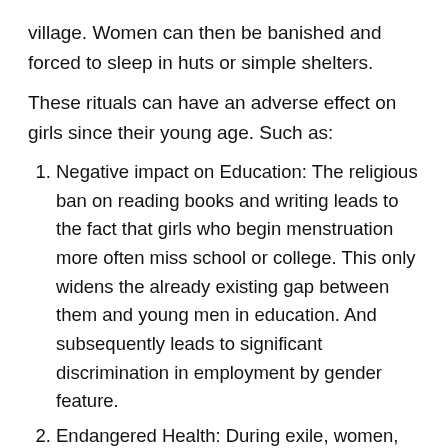village. Women can then be banished and forced to sleep in huts or simple shelters.
These rituals can have an adverse effect on girls since their young age. Such as:
Negative impact on Education: The religious ban on reading books and writing leads to the fact that girls who begin menstruation more often miss school or college. This only widens the already existing gap between them and young men in education. And subsequently leads to significant discrimination in employment by gender feature.
Endangered Health: During exile, women, as well as their young children following their mother, often endanger their health. Women often get sick due to...